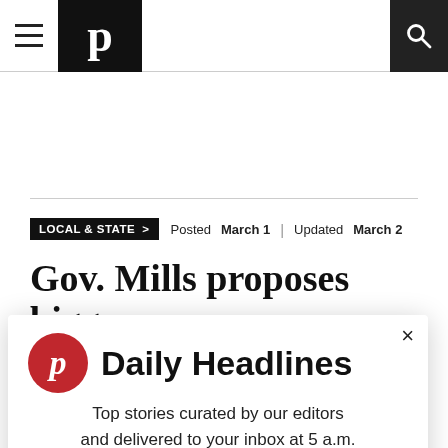Navigation bar with hamburger menu, Press Herald logo, and search icon
LOCAL & STATE >
Posted March 1 | Updated March 2
Gov. Mills proposes bigger
[Figure (other): Daily Headlines newsletter signup modal with Press Herald logo circle, title 'Daily Headlines', description 'Top stories curated by our editors and delivered to your inbox at 5 a.m.', and email input field]
Top stories curated by our editors and delivered to your inbox at 5 a.m.